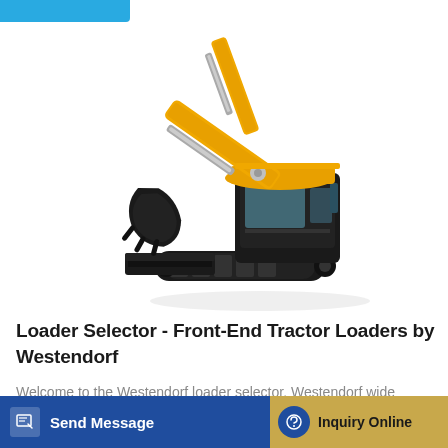[Figure (photo): Yellow and black mini excavator with bucket arm raised, shown on white background. Tracked undercarriage with blade attachment.]
Loader Selector - Front-End Tractor Loaders by Westendorf
Welcome to the Westendorf loader selector. Westendorf wide ... els of t...
[Figure (other): Send Message button - dark blue with envelope/edit icon]
[Figure (other): Inquiry Online button - tan/gold color with blue circular headset icon]